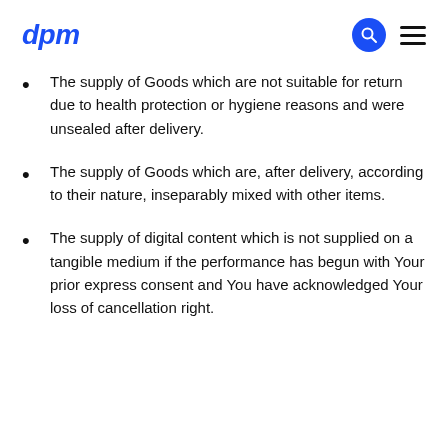dpm
The supply of Goods which are not suitable for return due to health protection or hygiene reasons and were unsealed after delivery.
The supply of Goods which are, after delivery, according to their nature, inseparably mixed with other items.
The supply of digital content which is not supplied on a tangible medium if the performance has begun with Your prior express consent and You have acknowledged Your loss of cancellation right.